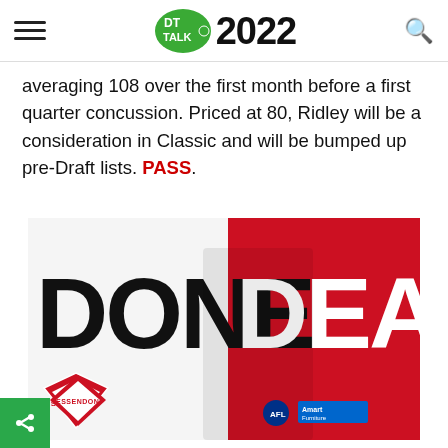DT TALK 2022
averaging 108 over the first month before a first quarter concussion. Priced at 80, Ridley will be a consideration in Classic and will be bumped up pre-Draft lists. PASS.
[Figure (photo): Essendon AFL player in red and black guernsey with 'DONE DEAL' text overlay and Essendon logo. Player wears Under Armour gear with AFL and Amart Furniture logos visible.]